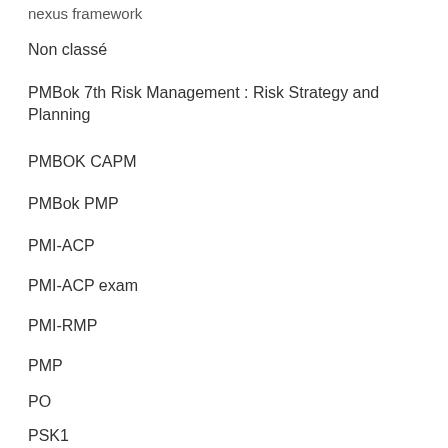nexus framework
Non classé
PMBok 7th Risk Management : Risk Strategy and Planning
PMBOK CAPM
PMBok PMP
PMI-ACP
PMI-ACP exam
PMI-RMP
PMP
PO
PSK1
Risk Management